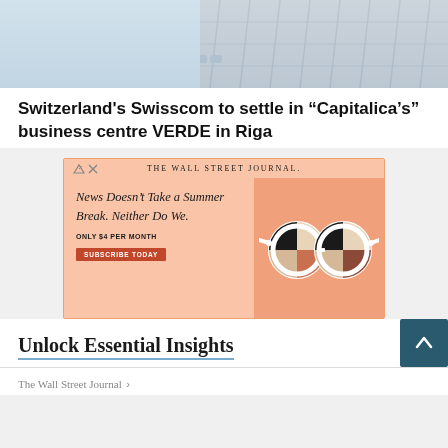[Figure (photo): Exterior photo of a modern building with geometric facade paneling, light blue sky visible]
Switzerland's Swisscom to settle in “Capitalica’s” business centre VERDE in Riga
[Figure (screenshot): Wall Street Journal advertisement: 'News Doesn't Take a Summer Break, Neither Do We. ONLY $4 PER MONTH. SUBSCRIBE TODAY.' with sunglasses graphic on salmon/peach background]
Unlock Essential Insights
The Wall Street Journal